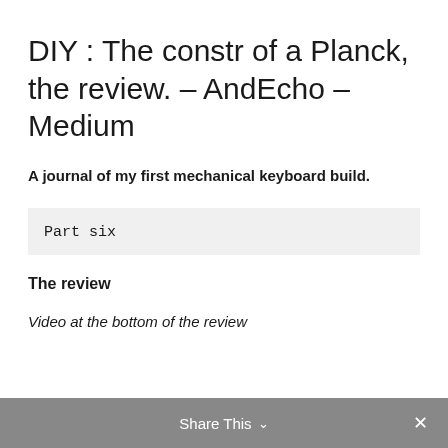DIY : The constr of a Planck, the review. – AndEcho – Medium
A journal of my first mechanical keyboard build.
Part six
The review
Video at the bottom of the review
Share This ∨  ×